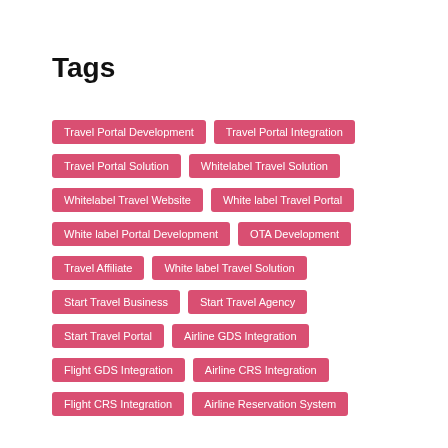Tags
Travel Portal Development
Travel Portal Integration
Travel Portal Solution
Whitelabel Travel Solution
Whitelabel Travel Website
White label Travel Portal
White label Portal Development
OTA Development
Travel Affiliate
White label Travel Solution
Start Travel Business
Start Travel Agency
Start Travel Portal
Airline GDS Integration
Flight GDS Integration
Airline CRS Integration
Flight CRS Integration
Airline Reservation System